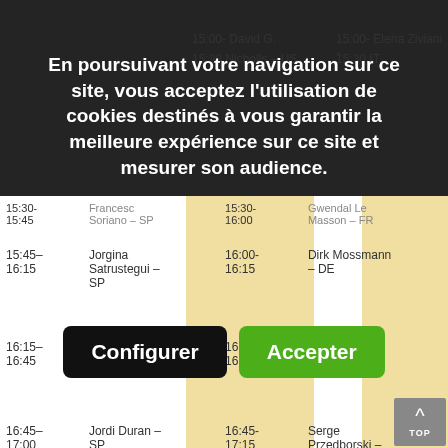En poursuivant votre navigation sur ce site, vous acceptez l'utilisation de cookies destinés à vous garantir la meilleure expérience sur ce site et mesurer son audience.
[Figure (screenshot): Cookie consent dialog with two buttons: 'Configurer' (black) and 'Accepter' (green), overlaid on a schedule/timetable webpage]
| Time | Speaker (Left) | Time | Speaker (Right) |
| --- | --- | --- | --- |
| 15:00- | David G. | 15:00- | Elena Ziviani - |
| 15:30 | Nicholls – US | 15:30 | IT |
| 15:30- | Francesc | 15:30- | Gwendal Le |
| 15:45 | Soriano – SP | 16:00 | Masson – FR |
| 15:45-
16:15 | Jorgina Satrustegui – SP | 16:00-
16:15 | Dirk Mossmann – DE |
| 16:15-
16:45 | Coffee break | 16:15-
16:45 | Coffee break |
| 16:45-
17:00 | Jordi Duran – SP | 16:45-
17:15 | Serge Przedborski – US |